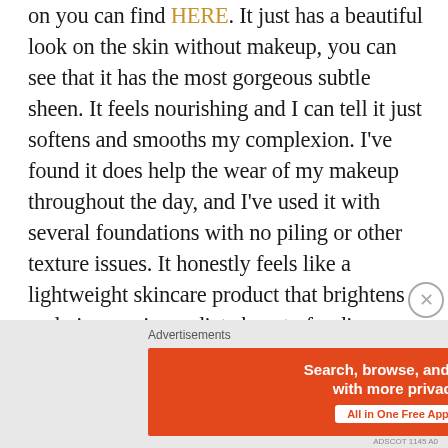on you can find HERE. It just has a beautiful look on the skin without makeup, you can see that it has the most gorgeous subtle sheen. It feels nourishing and I can tell it just softens and smooths my complexion. I've found it does help the wear of my makeup throughout the day, and I've used it with several foundations with no piling or other texture issues. It honestly feels like a lightweight skincare product that brightens and gives an immediate boost of radiancy. You can also get it on the Ole Henriksen wesbite, they run really great sale promotions from time
[Figure (screenshot): Advertisement banner for DuckDuckGo app. Left section in orange reads 'Search, browse, and email with more privacy. All in One Free App'. Right section in dark with DuckDuckGo duck logo.]